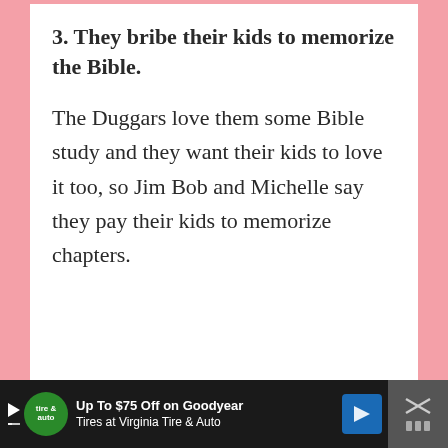3. They bribe their kids to memorize the Bible.
The Duggars love them some Bible study and they want their kids to love it too, so Jim Bob and Michelle say they pay their kids to memorize chapters.
[Figure (other): Advertisement bar at the bottom: Goodyear/Virginia Tire & Auto ad with logo, text 'Up To $75 Off on Goodyear Tires at Virginia Tire & Auto', directional arrow icon, and close button.]